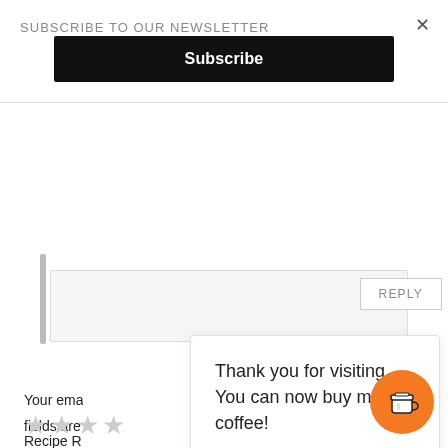SUBSCRIBE TO OUR NEWSLETTER
Subscribe
×
REPLY
LEAVE A REPLY
Your email address will not be published. Required fields are marked *
Recipe Rating
Thank you for visiting. You can now buy me a coffee!
[Figure (illustration): Orange circular coffee cup button icon]